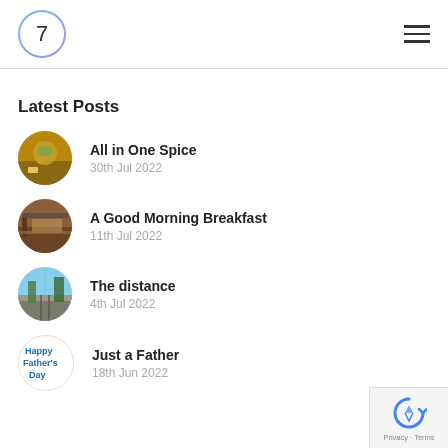7 [logo with hamburger menu]
Latest Posts
All in One Spice
30th Jul 2022
A Good Morning Breakfast
11th Jul 2022
The distance
4th Jul 2022
Just a Father
18th Jun 2022
Privacy · Terms